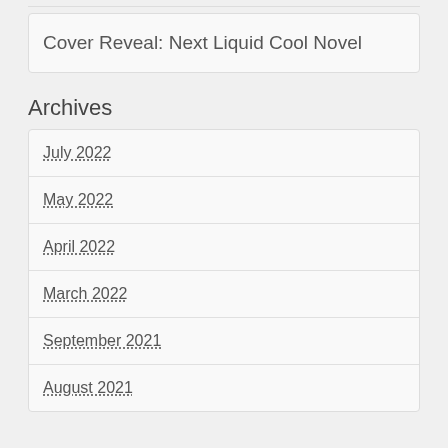Cover Reveal: Next Liquid Cool Novel
Archives
July 2022
May 2022
April 2022
March 2022
September 2021
August 2021